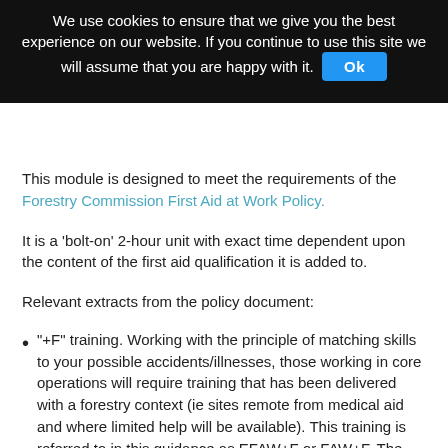We use cookies to ensure that we give you the best experience on our website. If you continue to use this site we will assume that you are happy with it. Ok
This module is designed to meet the requirements of the Forestry Commission First Aid at Work Policy.
It is a 'bolt-on' 2-hour unit with exact time dependent upon the content of the first aid qualification it is added to.
Relevant extracts from the policy document:
"+F" training. Working with the principle of matching skills to your possible accidents/illnesses, those working in core operations will require training that has been delivered with a forestry context (ie sites remote from medical aid and where limited help will be available). This training is referred to in this guidance as EFAW+F or FAW+F. The term "+F" may not be widely recognised. Core operations means; harvesting, civil engineering, mechanised ground